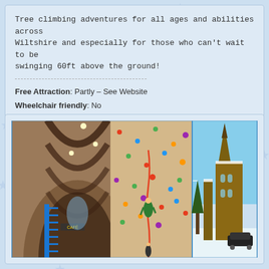Tree climbing adventures for all ages and abilities across Wiltshire and especially for those who can't wait to be swinging 60ft above the ground!
Free Attraction: Partly – See Website
Wheelchair friendly: No
[Figure (photo): Two photos side by side: left photo shows an indoor climbing wall inside a converted church with visible cafe sign and blue metal stairs; a climber in green is on the wall with a red rope. Right photo shows the exterior of a gothic church steeple in winter with snow, under blue sky, with a black car parked nearby.]